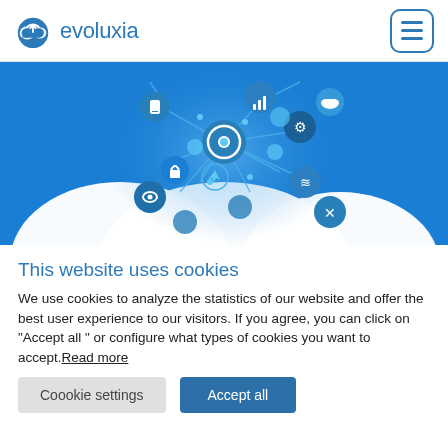[Figure (logo): Evoluxia logo with cloud icon and company name in blue]
[Figure (illustration): Hero image showing cloud computing network diagram with IoT icons on blue background]
This website uses cookies
We use cookies to analyze the statistics of our website and offer the best user experience to our visitors. If you agree, you can click on "Accept all " or configure what types of cookies you want to accept.Read more
Coookie settings
Accept all